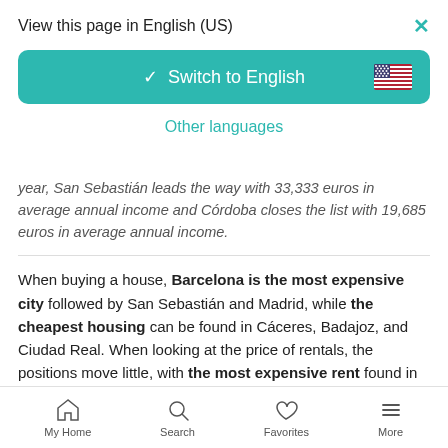View this page in English (US)
Switch to English
Other languages
year, San Sebastián leads the way with 33,333 euros in average annual income and Córdoba closes the list with 19,685 euros in average annual income.
When buying a house, Barcelona is the most expensive city followed by San Sebastián and Madrid, while the cheapest housing can be found in Cáceres, Badajoz, and Ciudad Real. When looking at the price of rentals, the positions move little, with the most expensive rent found in Barcelona, Madrid, and San
My Home   Search   Favorites   More